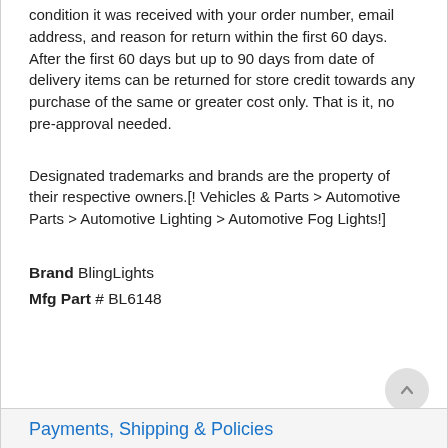condition it was received with your order number, email address, and reason for return within the first 60 days. After the first 60 days but up to 90 days from date of delivery items can be returned for store credit towards any purchase of the same or greater cost only. That is it, no pre-approval needed.
Designated trademarks and brands are the property of their respective owners.[! Vehicles & Parts > Automotive Parts > Automotive Lighting > Automotive Fog Lights!]
Brand BlingLights
Mfg Part # BL6148
Payments, Shipping & Policies